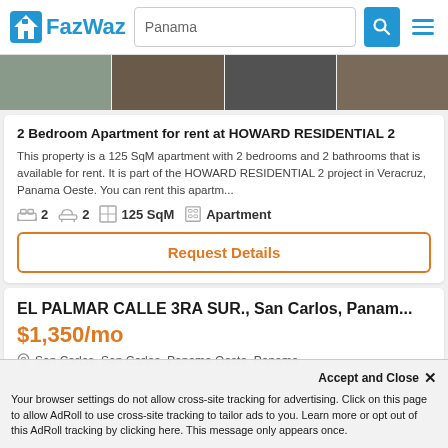FazWaz — Panama search bar
[Figure (photo): Strip of property photos from a real estate listing]
2 Bedroom Apartment for rent at HOWARD RESIDENTIAL 2
This property is a 125 SqM apartment with 2 bedrooms and 2 bathrooms that is available for rent. It is part of the HOWARD RESIDENTIAL 2 project in Veracruz, Panama Oeste. You can rent this apartm...
2  2  125 SqM  Apartment
Request Details
EL PALMAR CALLE 3RA SUR., San Carlos, Panam...
$1,350/mo
San Carlos, San Carlos, Panama Oeste, Panama
Accept and Close ✕
Your browser settings do not allow cross-site tracking for advertising. Click on this page to allow AdRoll to use cross-site tracking to tailor ads to you. Learn more or opt out of this AdRoll tracking by clicking here. This message only appears once.